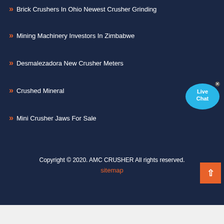Brick Crushers In Ohio Newest Crusher Grinding
Mining Machinery Investors In Zimbabwe
Desmalezadora New Crusher Meters
Crushed Mineral
Mini Crusher Jaws For Sale
Copyright © 2020. AMC CRUSHER All rights reserved.
sitemap